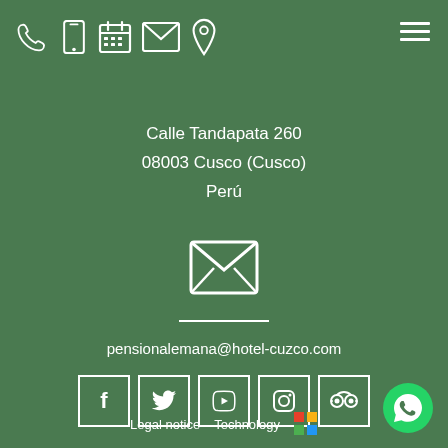[Figure (infographic): Top navigation bar with icons: phone, mobile, calendar, envelope, map pin on left; hamburger menu on right. All white icons on green background.]
Calle Tandapata 260
08003 Cusco (Cusco)
Perú
[Figure (infographic): Large white envelope/mail icon centered on the page]
pensionalemana@hotel-cuzco.com
[Figure (infographic): Row of 5 social media icons in white square borders: Facebook, Twitter, YouTube, Instagram, TripAdvisor]
Legal notice   Technology
[Figure (infographic): WhatsApp button icon in bottom right corner]